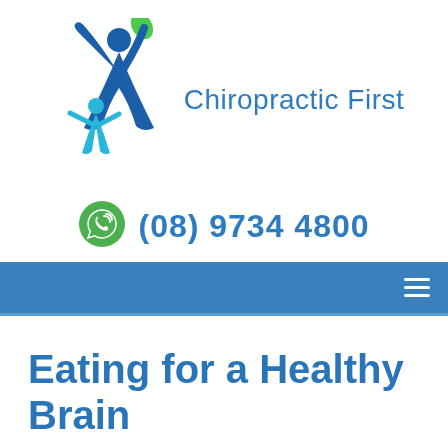[Figure (logo): Chiropractic First logo with two stylized human figures in blue and cyan, one holding a green leaf, alongside the text 'Chiropractic First' in blue]
(08) 9734 4800
[Figure (infographic): Blue navigation bar with hamburger menu icon (three white lines) on the right side]
Eating for a Healthy Brain